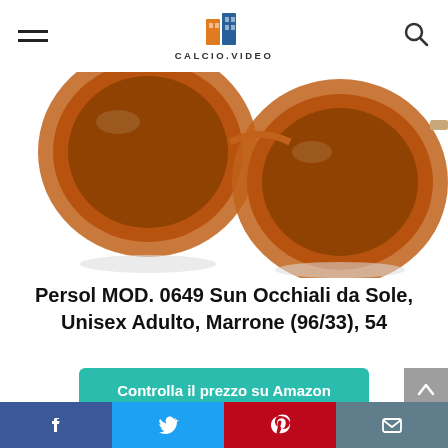CALCIO.VIDEO
[Figure (photo): Close-up of Persol round sunglasses with brown tortoiseshell frames and amber/brown lenses on a white background]
Persol MOD. 0649 Sun Occhiali da Sole, Unisex Adulto, Marrone (96/33), 54
Controlla il prezzo su Amazon
Amazon.it